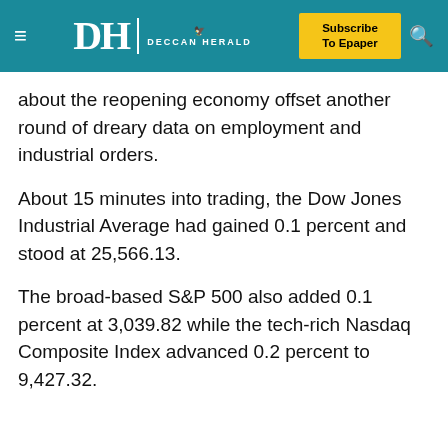Deccan Herald — Subscribe To Epaper
about the reopening economy offset another round of dreary data on employment and industrial orders.
About 15 minutes into trading, the Dow Jones Industrial Average had gained 0.1 percent and stood at 25,566.13.
The broad-based S&P 500 also added 0.1 percent at 3,039.82 while the tech-rich Nasdaq Composite Index advanced 0.2 percent to 9,427.32.